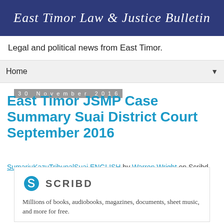East Timor Law & Justice Bulletin
Legal and political news from East Timor.
Home
30 November 2016
East Timor JSMP Case Summary Suai District Court September 2016
SumariuKazuTribunalSuai ENGLISH by Warren Wright on Scribd
[Figure (logo): Scribd logo with the letter S icon and wordmark 'SCRIBD' followed by description text: 'Millions of books, audiobooks, magazines, documents, sheet music, and more for free.']